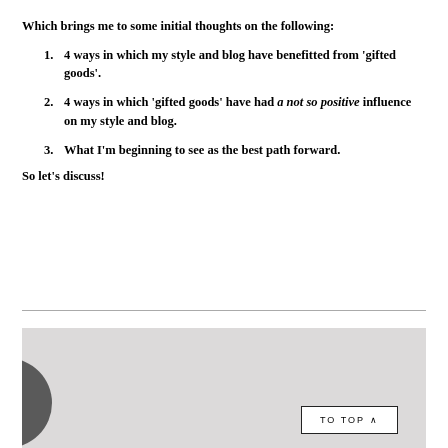Which brings me to some initial thoughts on the following:
4 ways in which my style and blog have benefitted from 'gifted goods'.
4 ways in which 'gifted goods' have had a not so positive influence on my style and blog.
What I'm beginning to see as the best path forward.
So let's discuss!
[Figure (photo): Partial photo of a person, showing the top of their head, against a light grey background. A 'TO TOP ^' button is overlaid in the bottom right.]